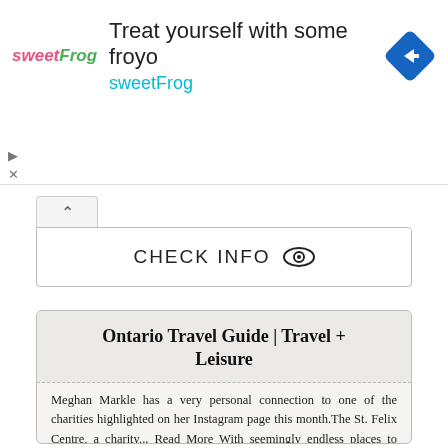[Figure (other): sweetFrog frozen yogurt advertisement banner with logo, text 'Treat yourself with some froyo sweetFrog', and a blue navigation arrow diamond icon]
CHECK INFO
Ontario Travel Guide | Travel + Leisure
Meghan Markle has a very personal connection to one of the charities highlighted on her Instagram page this month.The St. Felix Centre, a charity... Read More With seemingly endless places to travel around the globe, it’s tempting to simply...